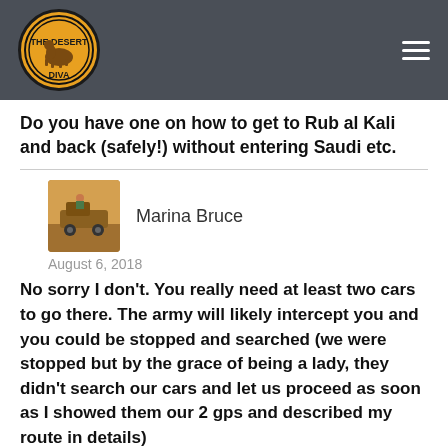The Desert Diva
Do you have one on how to get to Rub al Kali and back (safely!) without entering Saudi etc.
[Figure (photo): Profile photo of Marina Bruce showing an off-road vehicle in desert]
Marina Bruce
August 6, 2018
No sorry I don't. You really need at least two cars to go there. The army will likely intercept you and you could be stopped and searched (we were stopped but by the grace of being a lady, they didn't search our cars and let us proceed as soon as I showed them our 2 gps and described my route in details)